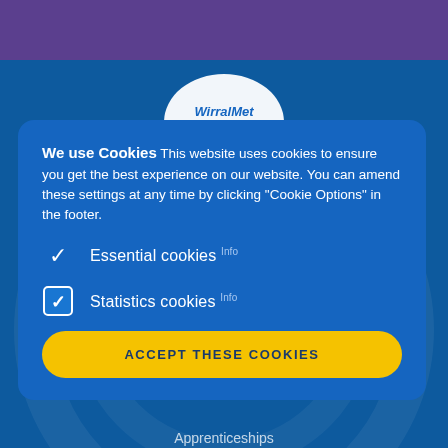[Figure (logo): WirralMet college logo, partially visible at top center]
We use Cookies This website uses cookies to ensure you get the best experience on our website. You can amend these settings at any time by clicking "Cookie Options" in the footer.
✓ Essential cookies Info
✓ Statistics cookies Info
ACCEPT THESE COOKIES
Apprenticeships